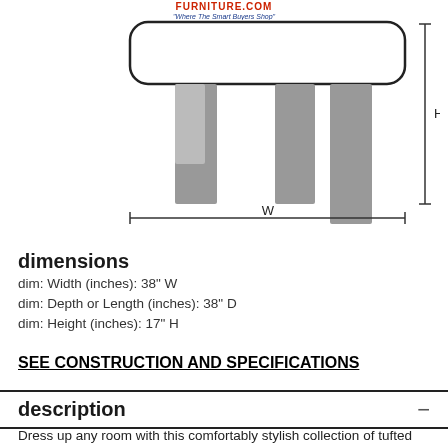[Figure (engineering-diagram): Front view of an ottoman showing a rectangular top with rounded corners and four rectangular legs below. Dimension arrows: W (width) indicated horizontally below the top, H (height) indicated vertically on the right side.]
dimensions
dim: Width (inches): 38" W
dim: Depth or Length (inches): 38" D
dim: Height (inches): 17" H
SEE CONSTRUCTION AND SPECIFICATIONS
description
Dress up any room with this comfortably stylish collection of tufted ottomans. Upholstered out of luxurious velvet, this line-up of ottomans is generously scaled and are great at adding a stylish